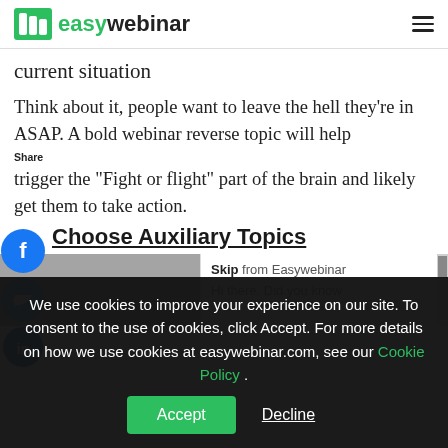easywebinar
current situation
Think about it, people want to leave the hell they’re in ASAP. A bold webinar reverse topic will help trigger the “Fight or flight” part of the brain and likely get them to take action.
Choose Auxiliary Topics
[Figure (screenshot): Partial view of an image on the left and a popup panel labeled 'Skip from Easywebinar' on the right with text 'Hi there. Did you know']
We use cookies to improve your experience on our site. To consent to the use of cookies, click Accept. For more details on how we use cookies at easywebinar.com, see our Cookie Policy .